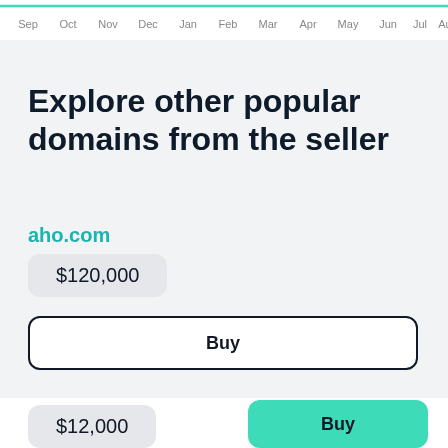[Figure (line-chart): Partial line chart showing months Sep through Aug on x-axis with a teal/green line near the top]
Explore other popular domains from the seller
aho.com
$120,000
Buy
$12,000
Buy